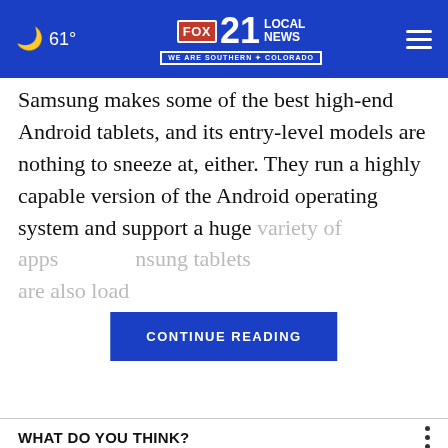61° FOX 21 LOCAL NEWS WE ARE SOUTHERN COLORADO
Samsung makes some of the best high-end Android tablets, and its entry-level models are nothing to sneeze at, either. They run a highly capable version of the Android operating system and support a huge variety of apps [CONTINUE READING] nsung tablets are also loaded
WHAT DO YOU THINK?
How often do you play the lottery?
Very often
Somewhat often
Not that often